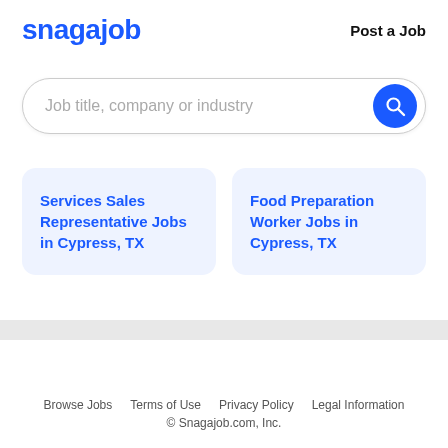snagajob   Post a Job
Job title, company or industry
Services Sales Representative Jobs in Cypress, TX
Food Preparation Worker Jobs in Cypress, TX
Browse Jobs   Terms of Use   Privacy Policy   Legal Information
© Snagajob.com, Inc.